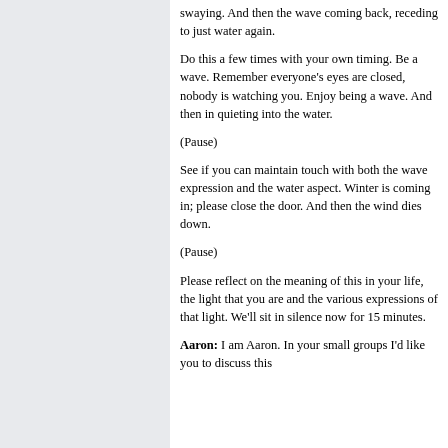swaying. And then the wave coming back, receding to just water again.
Do this a few times with your own timing. Be a wave. Remember everyone's eyes are closed, nobody is watching you. Enjoy being a wave. And then in quieting into the water.
(Pause)
See if you can maintain touch with both the wave expression and the water aspect. Winter is coming in; please close the door. And then the wind dies down.
(Pause)
Please reflect on the meaning of this in your life, the light that you are and the various expressions of that light. We'll sit in silence now for 15 minutes.
Aaron: I am Aaron. In your small groups I'd like you to discuss this